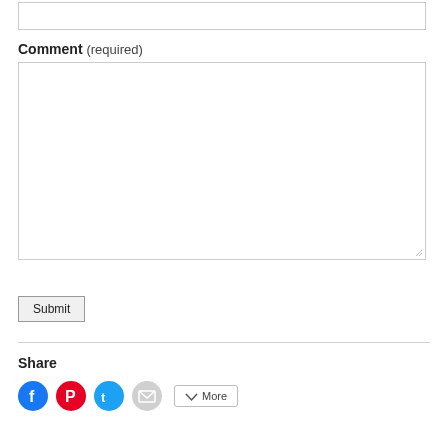[Figure (screenshot): Top portion of a web form comment section. Shows a text input box at the top, a label 'Comment (required)', a large empty textarea for comment input, a Submit button, a horizontal divider, a 'Share' section heading, and social media sharing icons (Facebook, Pinterest, Twitter, Email) and a More button.]
Comment (required)
Submit
Share
More